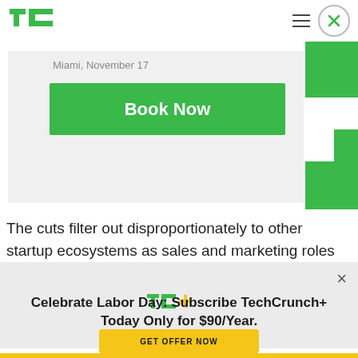[Figure (logo): TechCrunch TC logo in green, top left nav bar]
[Figure (screenshot): Card area showing Miami, November 17 date text and a green Book Now button, with green corner accent]
The cuts filter out disproportionately to other startup ecosystems as sales and marketing roles are often
[Figure (logo): TC+ logo (TechCrunch Plus) in green with yellow plus sign, inside modal]
Celebrate Labor Day: Subscribe TechCrunch+ Today Only for $90/Year.
GET OFFER NOW